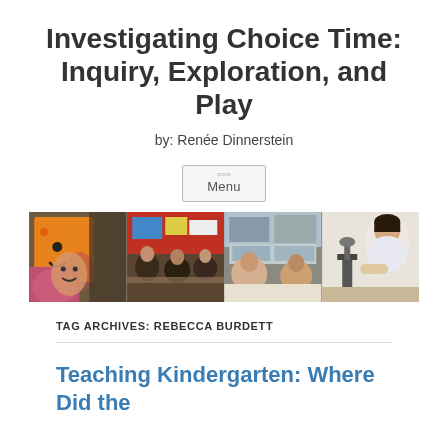Investigating Choice Time: Inquiry, Exploration, and Play
by: Renée Dinnerstein
Menu
[Figure (photo): Four classroom photos showing children engaged in various activities: a child holding a smiley-face orange paper cutout, children at a table with books, two children working at a desk, and a child looking through a microscope.]
TAG ARCHIVES: REBECCA BURDETT
Teaching Kindergarten: Where Did the